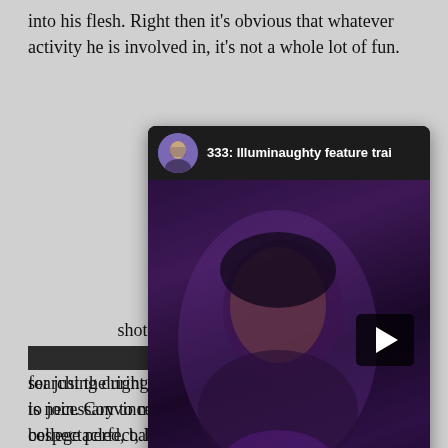into his flesh. Right then it's obvious that whatever activity he is involved in, it's not a whole lot of fun.
[Figure (screenshot): An embedded YouTube video player showing a video titled '333: Illuminaughty feature trai' with a woman's face visible in the thumbnail in a dark/purple-lit scene. A play button is visible in the lower right of the video. Below the video frame is a 'Watch on YouTube' button. A dark 'CLOSE' button overlay appears at the bottom of the video panel.]
ening shot took place, we meet a [group of] weirdos, searching during rush week for just the right fraternity to join. Convinced that this is necessary to make college perfect, David the bespectacled, babbling